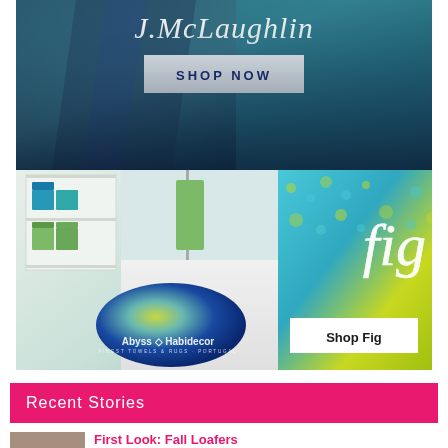[Figure (photo): J.McLaughlin advertisement banner with dark teal/blue background showing a plaid scarf, with italic serif logo text 'J.McLaughlin' and a white 'SHOP NOW' button]
[Figure (photo): Abyss & Habidecor advertisement showing bathroom with shelves of folded towels, a round blue-green-yellow rug on the floor, and a 'fig' product close-up in teal and yellow with 'Shop Fig' button]
Recent Stories
[Figure (photo): Small thumbnail image of a shoe or loafer]
First Look: Fall Loafers